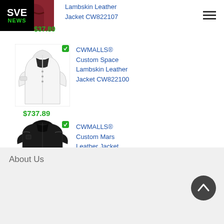[Figure (logo): SVE NEWS logo - black background with white SVE and green NEWS text]
[Figure (photo): Dark red/maroon leather jacket product image]
$37.89
Lambskin Leather Jacket CW822107
[Figure (photo): White leather jacket product image with green badge]
$737.89
CWMALLS® Custom Space Lambskin Leather Jacket CW822100
[Figure (photo): Black leather jacket product image with green badge]
CWMALLS® Custom Mars Leather Jacket
About Us
[Figure (logo): SVE NEWS footer logo - black background with white SVE and green NEWS text]
[Figure (other): Back to top circular button with upward arrow]